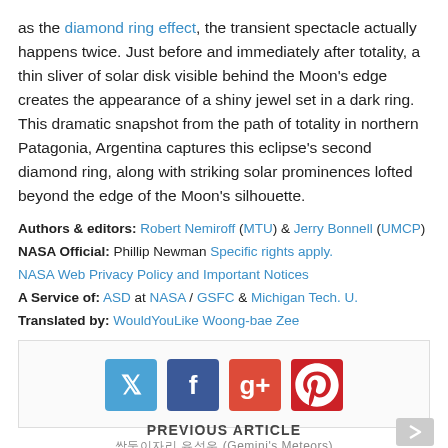as the diamond ring effect, the transient spectacle actually happens twice. Just before and immediately after totality, a thin sliver of solar disk visible behind the Moon's edge creates the appearance of a shiny jewel set in a dark ring. This dramatic snapshot from the path of totality in northern Patagonia, Argentina captures this eclipse's second diamond ring, along with striking solar prominences lofted beyond the edge of the Moon's silhouette.
Authors & editors: Robert Nemiroff (MTU) & Jerry Bonnell (UMCP) NASA Official: Phillip Newman Specific rights apply. NASA Web Privacy Policy and Important Notices A Service of: ASD at NASA / GSFC & Michigan Tech. U. Translated by: WouldYouLike Woong-bae Zee
[Figure (infographic): Social sharing buttons for Twitter, Facebook, Google+, and Pinterest]
PREVIOUS ARTICLE